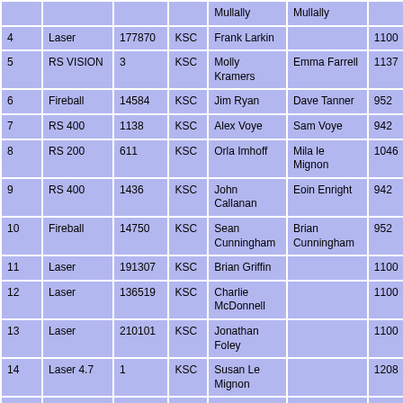| # | Class | Sail No | Club | Helm | Crew | PY | Elapsed | Corrected |
| --- | --- | --- | --- | --- | --- | --- | --- | --- |
|  |  |  |  | Mullally | Mullally |  |  |  |
| 4 | Laser | 177870 | KSC | Frank Larkin |  | 1100 | 0:20:13 | 0: |
| 5 | RS VISION | 3 | KSC | Molly Kramers | Emma Farrell | 1137 | 0:21:47 | 0: |
| 6 | Fireball | 14584 | KSC | Jim Ryan | Dave Tanner | 952 | 0:18:30 | 0: |
| 7 | RS 400 | 1138 | KSC | Alex Voye | Sam Voye | 942 | 0:18:35 | 0: |
| 8 | RS 200 | 611 | KSC | Orla Imhoff | Mila le Mignon | 1046 | 0:20:53 | 0: |
| 9 | RS 400 | 1436 | KSC | John Callanan | Eoin Enright | 942 | 0:18:49 | 0: |
| 10 | Fireball | 14750 | KSC | Sean Cunningham | Brian Cunningham | 952 | 0:19:20 | 0: |
| 11 | Laser | 191307 | KSC | Brian Griffin |  | 1100 | 0:22:25 | 0: |
| 12 | Laser | 136519 | KSC | Charlie McDonnell |  | 1100 | 0:22:57 | 0: |
| 13 | Laser | 210101 | KSC | Jonathan Foley |  | 1100 | 0:24:00 | 0: |
| 14 | Laser 4.7 | 1 | KSC | Susan Le Mignon |  | 1208 | 0:27:55 | 0: |
| 15 | RS 200 | 624 | KSC | Shirley O'Neill | Declan Carey | 1046 | 0:24:55 | 0: |
| 16 | Laser Radial | 154606 | KSC | Liam Talbot |  | 1147 | 0:29:28 | 0: |
| 17 | Laser Radial | 2 | KSC | Frank McGrath |  | 1147 | 0:32:06 | 0: |